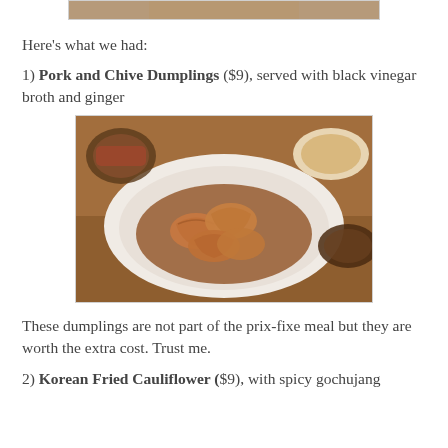[Figure (photo): Top portion of a food photo partially visible at top of page]
Here's what we had:
1) Pork and Chive Dumplings ($9), served with black vinegar broth and ginger
[Figure (photo): Photo of pork and chive dumplings in a white bowl with brown broth sauce, surrounded by side dishes on a wooden table]
These dumplings are not part of the prix-fixe meal but they are worth the extra cost. Trust me.
2) Korean Fried Cauliflower ($9), with spicy gochujang...